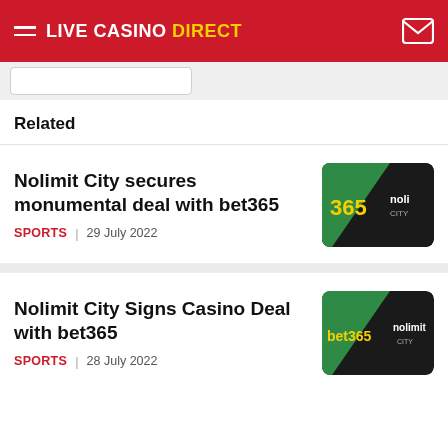LIVE CASINO DIRECT
Related
Nolimit City secures monumental deal with bet365
SPORTS | 29 July 2022
[Figure (photo): Thumbnail image showing bet365 and Nolimit City logos side by side on green and black background]
Nolimit City Signs Casino Deal with bet365
SPORTS | 28 July 2022
[Figure (photo): Thumbnail image showing bet365 and nolimit logos side by side on green and black background]